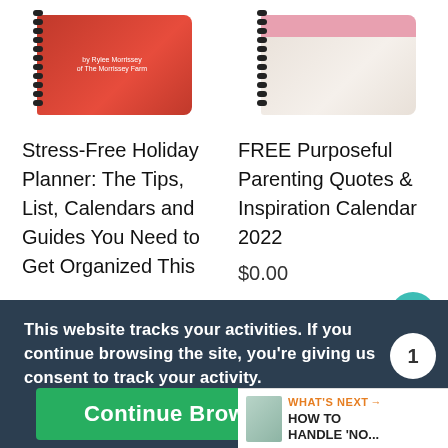[Figure (photo): Two spiral-bound book/planner mockups. Left: red cover planner. Right: light/marble cover planner with pink accent strip.]
Stress-Free Holiday Planner: The Tips, List, Calendars and Guides You Need to Get Organized This
FREE Purposeful Parenting Quotes & Inspiration Calendar 2022
$0.00
This website tracks your activities. If you continue browsing the site, you're giving us consent to track your activity.
Continue Browsing
WHAT'S NEXT → HOW TO HANDLE 'NO...